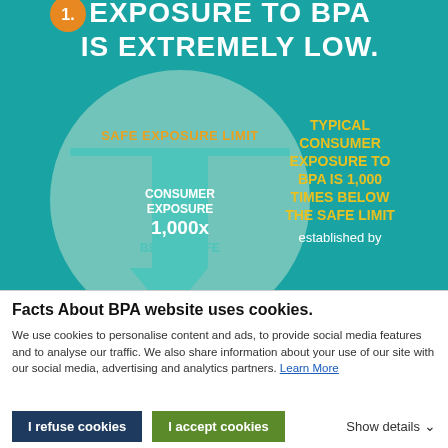[Figure (infographic): Infographic on teal/cyan background showing BPA exposure safety. Top text says 'EXPOSURE TO BPA IS EXTREMELY LOW.' with a circle diagram showing 'SAFE EXPOSURE LIMIT' at the top and 'CONSUMER EXPOSURE 1,000x BELOW SAFE' in the lower portion. Right side in yellow text: 'TYPICAL CONSUMER EXPOSURE TO BPA IS 1,000 TIMES BELOW THE SAFE LIMIT established by']
Facts About BPA website uses cookies.
We use cookies to personalise content and ads, to provide social media features and to analyse our traffic. We also share information about your use of our site with our social media, advertising and analytics partners. Learn More